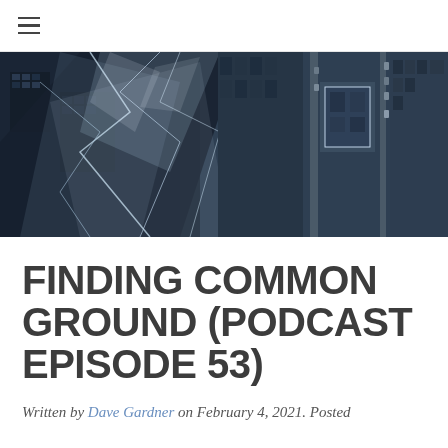≡
[Figure (photo): Aerial/overhead view of a city with shattered glass overlay effect, dark moody tones showing buildings and streets from above]
FINDING COMMON GROUND (PODCAST EPISODE 53)
Written by Dave Gardner on February 4, 2021. Posted